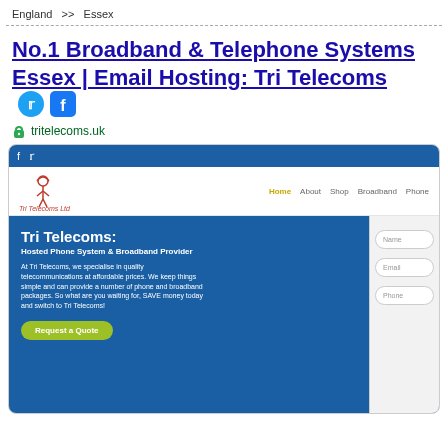England  >>  Essex
No.1 Broadband & Telephone Systems Essex | Email Hosting: Tri Telecoms
tritelecoms.uk
[Figure (screenshot): Screenshot of the Tri Telecoms website showing the homepage with navigation bar (Home, About, Shop, Broadband, Phone), a blue hero section with text 'Tri Telecoms: Hosted Phone System & Broadband Provider', body text about the company, a 'Request a Quote' button, and a contact form on the right with Name, Email, Phone fields.]